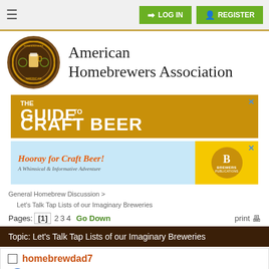LOG IN  REGISTER
American Homebrewers Association
[Figure (logo): American Homebrewers Association circular logo with beer glass]
[Figure (infographic): Advertisement: THE GUIDE to CRAFT BEER]
[Figure (infographic): Advertisement: Hooray for Craft Beer! A Whimsical & Informative Adventure - Brewers Publications]
General Homebrew Discussion > Let's Talk Tap Lists of our Imaginary Breweries
Pages: [1] 2 3 4   Go Down   print
Topic: Let's Talk Tap Lists of our Imaginary Breweries
homebrewdad7